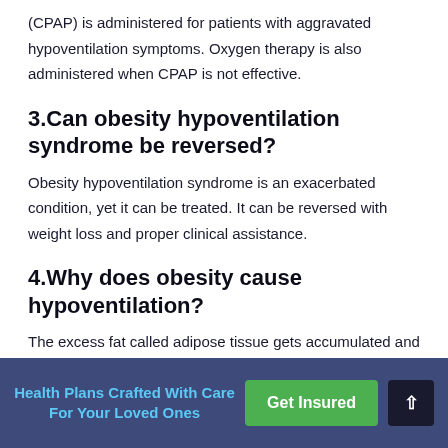(CPAP) is administered for patients with aggravated hypoventilation symptoms. Oxygen therapy is also administered when CPAP is not effective.
3.Can obesity hypoventilation syndrome be reversed?
Obesity hypoventilation syndrome is an exacerbated condition, yet it can be treated. It can be reversed with weight loss and proper clinical assistance.
4.Why does obesity cause hypoventilation?
The excess fat called adipose tissue gets accumulated and
Health Plans Crafted With Care For Your Loved Ones | Get Insured